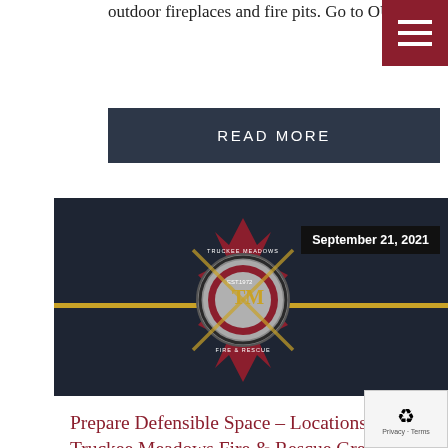outdoor fireplaces and fire pits. Go to OUTDOOR BURNING [...]
READ MORE
[Figure (logo): Truckee Meadows Fire & Rescue badge/seal logo on dark background with gold horizontal line]
September 21, 2021
Prepare Defensible Space – Locations for Truckee Meadows Fire & Rescue Green Waste Collection, Autumn 2021